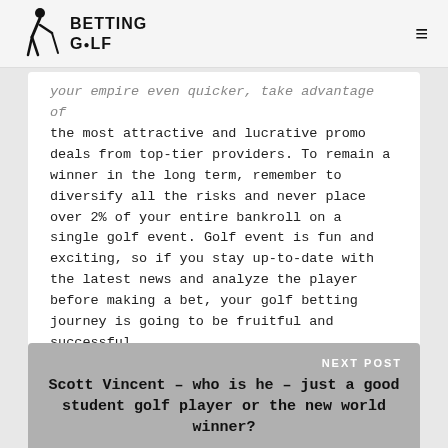BETTING GOLF
your empire even quicker, take advantage of the most attractive and lucrative promo deals from top-tier providers. To remain a winner in the long term, remember to diversify all the risks and never place over 2% of your entire bankroll on a single golf event. Golf event is fun and exciting, so if you stay up-to-date with the latest news and analyze the player before making a bet, your golf betting journey is going to be fruitful and successful.
NEXT POST
Scott Vincent – who is he – just a good student golf player or the new world winner?